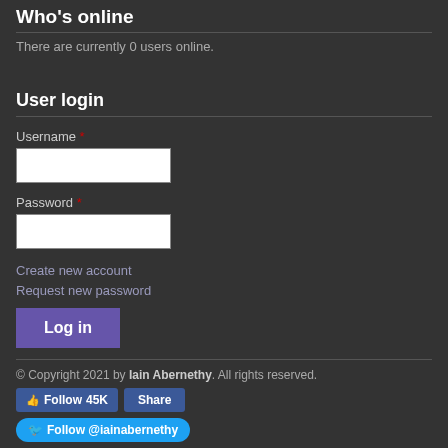Who's online
There are currently 0 users online.
User login
Username *
Password *
Create new account
Request new password
Log in
© Copyright 2021 by Iain Abernethy. All rights reserved.
Follow 45K  Share
Follow @iainabernethy